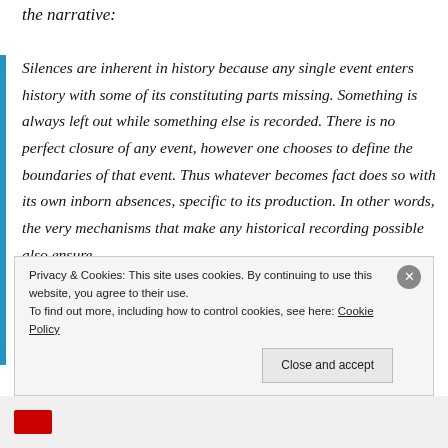the narrative:
Silences are inherent in history because any single event enters history with some of its constituting parts missing. Something is always left out while something else is recorded. There is no perfect closure of any event, however one chooses to define the boundaries of that event. Thus whatever becomes fact does so with its own inborn absences, specific to its production. In other words, the very mechanisms that make any historical recording possible also ensure
Privacy & Cookies: This site uses cookies. By continuing to use this website, you agree to their use.
To find out more, including how to control cookies, see here: Cookie Policy
Close and accept